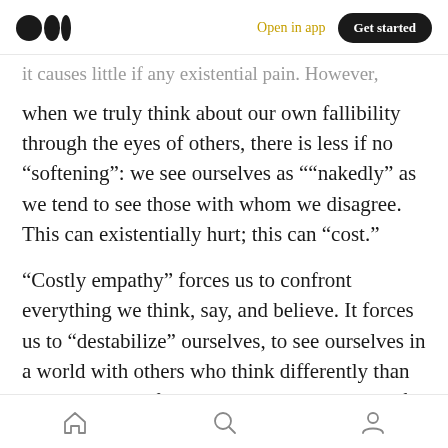Medium logo | Open in app | Get started
it causes little if any existential pain. However, when we truly think about our own fallibility through the eyes of others, there is less if no “softening”: we see ourselves as ““nakedly” as we tend to see those with whom we disagree. This can existentially hurt; this can “cost.”
“Costly empathy” forces us to confront everything we think, say, and believe. It forces us to “destabilize” ourselves, to see ourselves in a world with others who think differently than us and who confront us with the possibility of being wrong intellectually, religiously, and
Home | Search | Profile